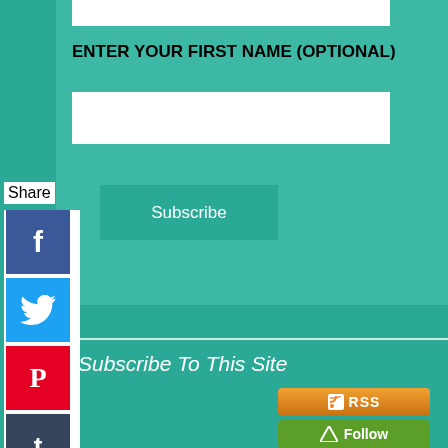ENTER YOUR FIRST NAME (OPTIONAL)
[Figure (screenshot): White input field for first name entry]
[Figure (screenshot): Subscribe button in teal/dark green]
Share
[Figure (infographic): Social share sidebar with Facebook, Twitter, Pinterest, Tumblr, Reddit, WhatsApp icons]
Subscribe To This Site
[Figure (infographic): RSS orange button]
[Figure (infographic): Follow green button]
[Figure (infographic): My Yahoo! add button]
[Figure (other): Grey left-pointing triangle arrow navigation button]